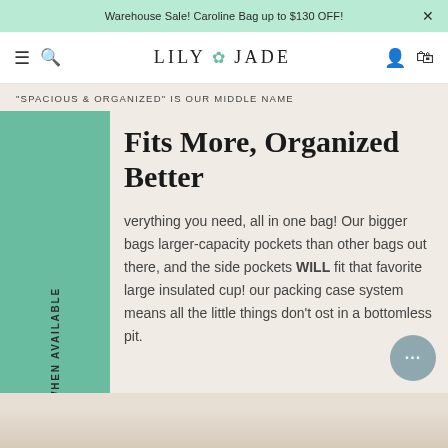Warehouse Sale! Caroline Bag up to $130 OFF!
LILY JADE
"SPACIOUS & ORGANIZED" IS OUR MIDDLE NAME
Fits More, Organized Better
verything you need, all in one bag! Our bigger bags larger-capacity pockets than other bags out there, and the side pockets WILL fit that favorite large insulated cup! our packing case system means all the little things don't ost in a bottomless pit.
[Figure (screenshot): Bottom portion of a Lily Jade handbag product page showing a decorative image strip at the bottom]